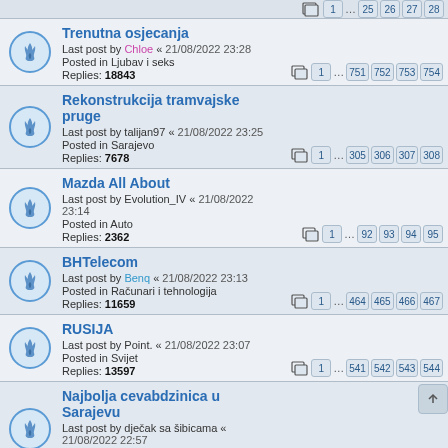Trenutna osjecanja | Last post by Chloe « 21/08/2022 23:28 | Posted in Ljubav i seks | Replies: 18843 | Pages: 1 ... 751 752 753 754
Rekonstrukcija tramvajske pruge | Last post by talijan97 « 21/08/2022 23:25 | Posted in Sarajevo | Replies: 7678 | Pages: 1 ... 305 306 307 308
Mazda All About | Last post by Evolution_IV « 21/08/2022 23:14 | Posted in Auto | Replies: 2362 | Pages: 1 ... 92 93 94 95
BHTelecom | Last post by Benq « 21/08/2022 23:13 | Posted in Računari i tehnologija | Replies: 11659 | Pages: 1 ... 464 465 466 467
RUSIJA | Last post by Point. « 21/08/2022 23:07 | Posted in Svijet | Replies: 13597 | Pages: 1 ... 541 542 543 544
Najbolja cevabdzinica u Sarajevu | Last post by dječak sa šibicama « 21/08/2022 22:57 | Posted in Sarajevo | Replies: 5557 | Pages: 1 ... 220 221 222 223